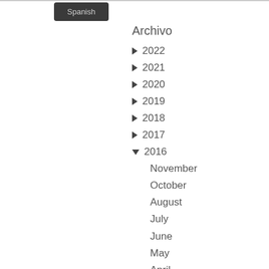Spanish
Archivo
▶ 2022
▶ 2021
▶ 2020
▶ 2019
▶ 2018
▶ 2017
▼ 2016
November
October
August
July
June
May
April
February
January
▶ 2015
▶ 2014
▶ 2013
▶ 2012
▶ 2011